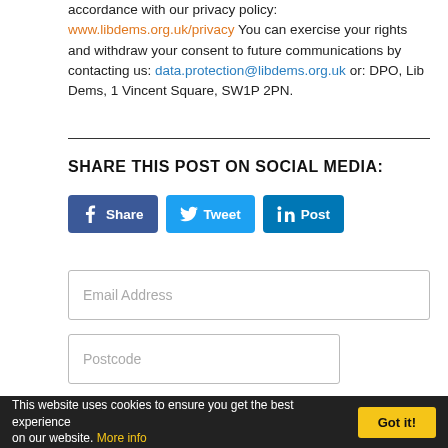accordance with our privacy policy: www.libdems.org.uk/privacy You can exercise your rights and withdraw your consent to future communications by contacting us: data.protection@libdems.org.uk or: DPO, Lib Dems, 1 Vincent Square, SW1P 2PN.
SHARE THIS POST ON SOCIAL MEDIA:
[Figure (other): Social media share buttons: Facebook Share, Twitter Tweet, LinkedIn Post]
Email Address (input field placeholder)
Postcode (input field placeholder)
Can we keep you updated?
Yes, I'd like to get emails from the local Liberal
This website uses cookies to ensure you get the best experience on our website. More info